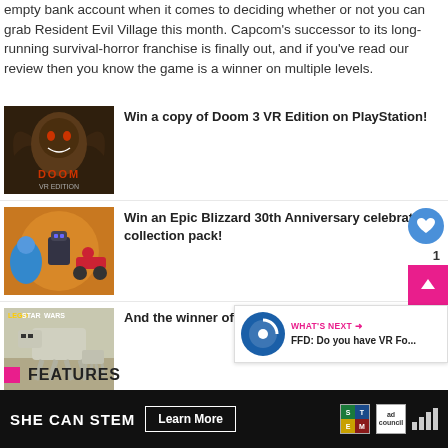empty bank account when it comes to deciding whether or not you can grab Resident Evil Village this month. Capcom's successor to its long-running survival-horror franchise is finally out, and if you've read our review then you know the game is a winner on multiple levels.
Win a copy of Doom 3 VR Edition on PlayStation!
Win an Epic Blizzard 30th Anniversary celebration collection pack!
And the winner of our Lego Star Wars set i...
FEATURES
SHE CAN STEM  Learn More